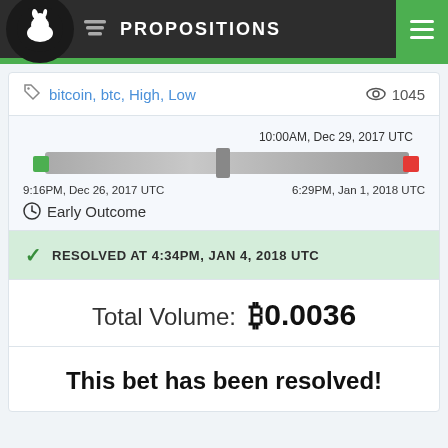PROPOSITIONS
bitcoin, btc, High, Low  👁 1045
[Figure (infographic): Timeline bar showing start date 9:16PM, Dec 26, 2017 UTC on left (green dot), midpoint marker at 10:00AM, Dec 29, 2017 UTC, and end date 6:29PM, Jan 1, 2018 UTC on right (red dot). Early Outcome label with clock icon below.]
RESOLVED AT 4:34PM, JAN 4, 2018 UTC
Total Volume: ₿0.0036
This bet has been resolved!